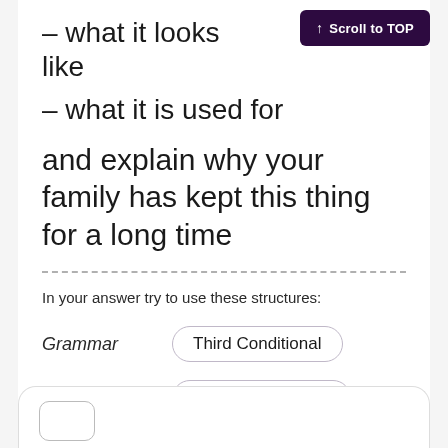– what it looks like
– what it is used for
and explain why your family has kept this thing for a long time
In your answer try to use these structures:
Grammar   Third Conditional
Cohesion   First and foremost